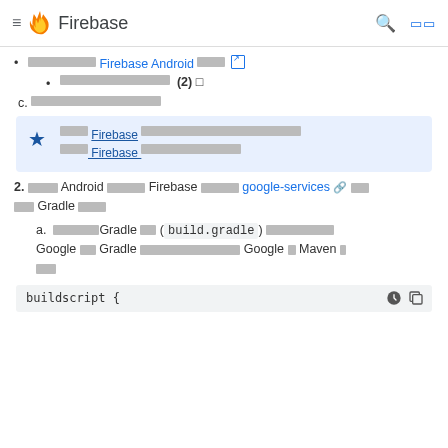Firebase
██████████ Firebase Android ████ [external link]
████████████████████ (2) □
c. ████████████████████
★ ████ Firebase ████████████████████████ ████ Firebase ████████████████
2. ████ Android ██████ Firebase ██████ google-services [external link] ████ Gradle █████
a. ████████Gradle ██ ( build.gradle ) ████████████ Google ██ Gradle ████████████████████ Google █ Maven █ ███
buildscript {